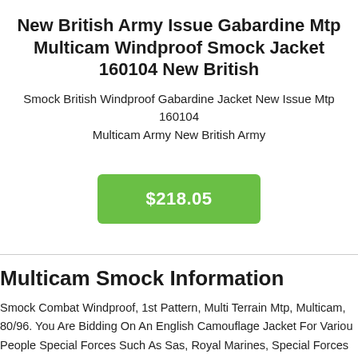New British Army Issue Gabardine Mtp Multicam Windproof Smock Jacket 160104 New British
Smock British Windproof Gabardine Jacket New Issue Mtp 160104 Multicam Army New British Army
$218.05
Multicam Smock Information
Smock Combat Windproof, 1st Pattern, Multi Terrain Mtp, Multicam, 80/96. You Are Bidding On An English Camouflage Jacket For Various People Special Forces Such As Sas, Royal Marines, Special Forces 4 Attachment Pockets 2 Further Breast Pockets With Zippers Wire Sewn Into The d For Stiffening. Special Windproof Fabric. Rank Loop On The Front, Sides Of The Upper Arms Velcro Surfaces For Attaching Badges Sl...